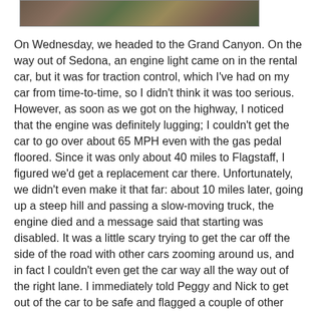[Figure (photo): Partial photograph showing an outdoor scene with people and foliage, cropped at top of page]
On Wednesday, we headed to the Grand Canyon. On the way out of Sedona, an engine light came on in the rental car, but it was for traction control, which I've had on my car from time-to-time, so I didn't think it was too serious. However, as soon as we got on the highway, I noticed that the engine was definitely lugging; I couldn't get the car to go over about 65 MPH even with the gas pedal floored. Since it was only about 40 miles to Flagstaff, I figured we'd get a replacement car there. Unfortunately, we didn't even make it that far: about 10 miles later, going up a steep hill and passing a slow-moving truck, the engine died and a message said that starting was disabled. It was a little scary trying to get the car off the side of the road with other cars zooming around us, and in fact I couldn't even get the car way all the way out of the right lane. I immediately told Peggy and Nick to get out of the car to be safe and flagged a couple of other cars over to help push it the rest of the way off the road. A nice couple on their way to Flagstaff gave us a ride to the Budget booth at the Flagstaff airport, where the folks there quickly got us going with another car. The rest of the way to the Grand